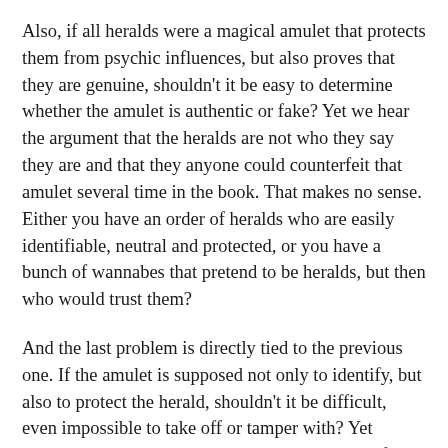Also, if all heralds were a magical amulet that protects them from psychic influences, but also proves that they are genuine, shouldn't it be easy to determine whether the amulet is authentic or fake? Yet we hear the argument that the heralds are not who they say they are and that they anyone could counterfeit that amulet several time in the book. That makes no sense. Either you have an order of heralds who are easily identifiable, neutral and protected, or you have a bunch of wannabes that pretend to be heralds, but then who would trust them?
And the last problem is directly tied to the previous one. If the amulet is supposed not only to identify, but also to protect the herald, shouldn't it be difficult, even impossible to take off or tamper with? Yet Leandra does just that to Kate at the beginning of the book...
But even despite those gripes I have with the story, I think I